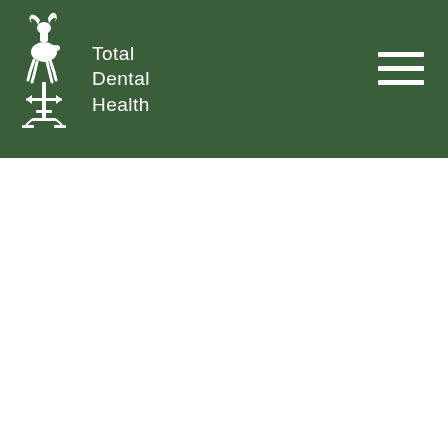Total Dental Health
[Figure (photo): Hero banner showing close-up of white/blonde hair on light gray gradient background]